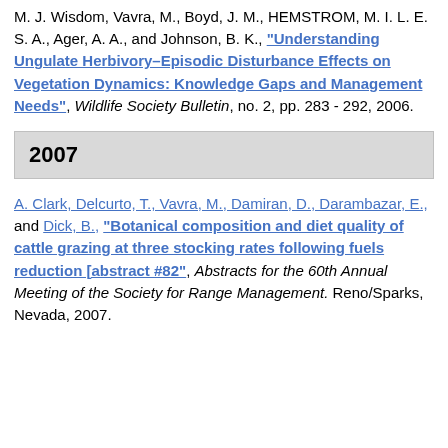M. J. Wisdom, Vavra, M., Boyd, J. M., HEMSTROM, M. I. L. E. S. A., Ager, A. A., and Johnson, B. K., "Understanding Ungulate Herbivory–Episodic Disturbance Effects on Vegetation Dynamics: Knowledge Gaps and Management Needs", Wildlife Society Bulletin, no. 2, pp. 283 - 292, 2006.
2007
A. Clark, Delcurto, T., Vavra, M., Damiran, D., Darambazar, E., and Dick, B., "Botanical composition and diet quality of cattle grazing at three stocking rates following fuels reduction [abstract #82", Abstracts for the 60th Annual Meeting of the Society for Range Management. Reno/Sparks, Nevada, 2007.